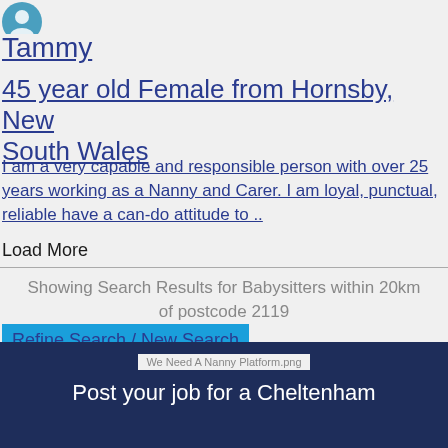[Figure (photo): Circular profile avatar icon in teal/blue color, partially visible at top left]
Tammy
45 year old Female from Hornsby, New South Wales
I am a very capable and responsible person with over 25 years working as a Nanny and Carer. I am loyal, punctual, reliable have a can-do attitude to ..
Load More
Showing Search Results for Babysitters within 20km of postcode 2119
Refine Search / New Search
[Figure (logo): We Need A Nanny Platform.png - logo image placeholder]
Post your job for a Cheltenham